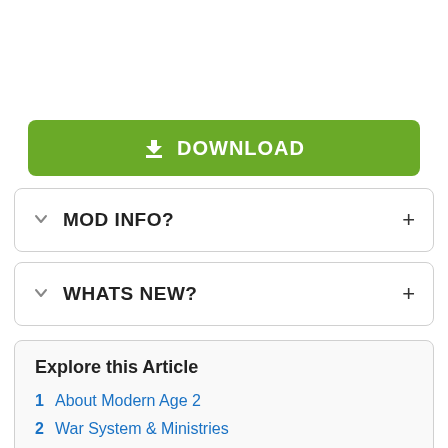[Figure (other): Green download button with download icon and text 'DOWNLOAD']
MOD INFO?
WHATS NEW?
Explore this Article
1 About Modern Age 2
2 War System & Ministries
3 Diplomacy and Laws of the State